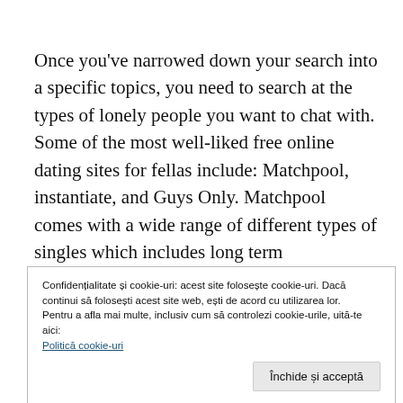Once you've narrowed down your search into a specific topics, you need to search at the types of lonely people you want to chat with. Some of the most well-liked free online dating sites for fellas include: Matchpool, instantiate, and Guys Only. Matchpool comes with a wide range of different types of singles which includes long term interactions, casual daters, and very productive ones. www.mail-order-brides-reviews.com/
Confidențialitate și cookie-uri: acest site folosește cookie-uri. Dacă continui să folosești acest site web, ești de acord cu utilizarea lor.
Pentru a afla mai multe, inclusiv cum să controlezi cookie-urile, uită-te aici:
Politică cookie-uri
Închide și acceptă
InstantDating provides a neat characteristic that allows